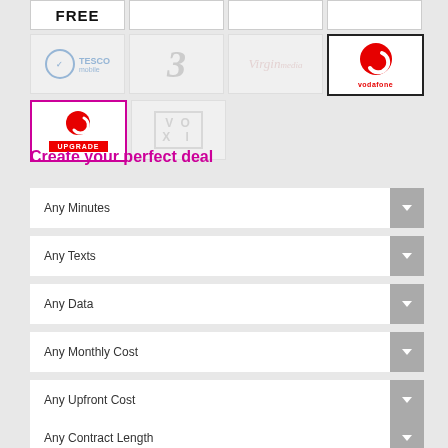[Figure (screenshot): Network provider logo grid showing: FREE (partial, top row), Tesco Mobile, Three (3), Virgin Media, Vodafone (selected dark border), Vodafone Upgrade (selected pink border), VOXI]
Create your perfect deal
Any Minutes (dropdown)
Any Texts (dropdown)
Any Data (dropdown)
Any Monthly Cost (dropdown)
Any Upfront Cost (dropdown)
Any Contract Length (dropdown)